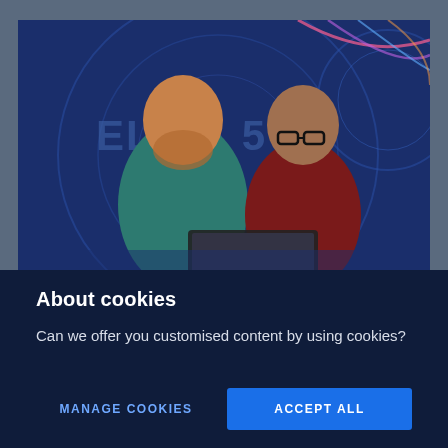[Figure (photo): Two men looking at a tablet device against a blue background with 'ELISA 5G' branding and decorative circular graphics]
About cookies
Can we offer you customised content by using cookies?
MANAGE COOKIES
ACCEPT ALL